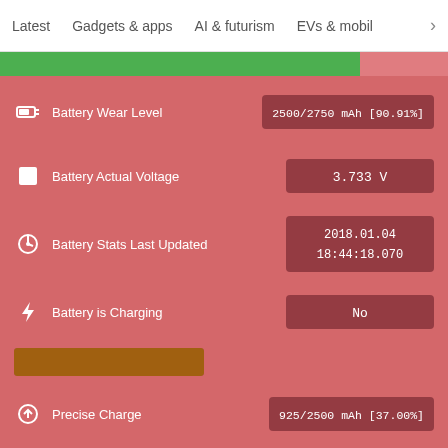Latest   Gadgets & apps   AI & futurism   EVs & mobil  >
[Figure (screenshot): Battery statistics app screenshot showing battery wear level 2500/2750 mAh [90.91%], battery actual voltage 3.733 V, battery stats last updated 2018.01.04 18:44:18.070, battery is charging No, with a progress bar and precise charge 925/2500 mAh [37.00%]]